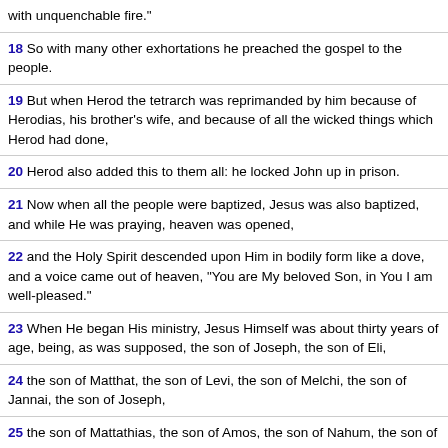with unquenchable fire."
18 So with many other exhortations he preached the gospel to the people.
19 But when Herod the tetrarch was reprimanded by him because of Herodias, his brother’s wife, and because of all the wicked things which Herod had done,
20 Herod also added this to them all: he locked John up in prison.
21 Now when all the people were baptized, Jesus was also baptized, and while He was praying, heaven was opened,
22 and the Holy Spirit descended upon Him in bodily form like a dove, and a voice came out of heaven, "You are My beloved Son, in You I am well-pleased."
23 When He began His ministry, Jesus Himself was about thirty years of age, being, as was supposed, the son of Joseph, the son of Eli,
24 the son of Matthat, the son of Levi, the son of Melchi, the son of Jannai, the son of Joseph,
25 the son of Mattathias, the son of Amos, the son of Nahum, the son of Hesli, the son of Naggai,
26 the son of Maath, the son of Mattathias, the son of Semein, the son of Josech, the son of Joda,
27 the son of Joanan, the son of Rhesa, the son of Zerubbabel, the son of Shealtiel, the son of Neri,